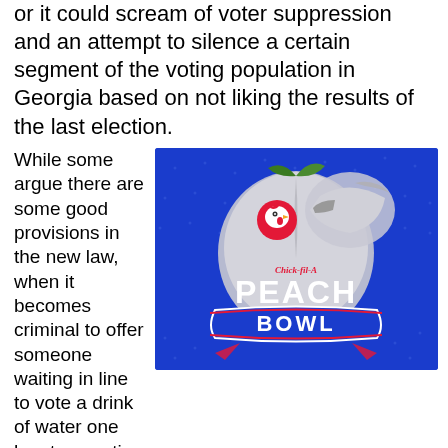or it could scream of voter suppression and an attempt to silence a certain segment of the voting population in Georgia based on not liking the results of the last election.
While some argue there are some good provisions in the new law, when it becomes criminal to offer someone waiting in line to vote a drink of water one has to question whether the
[Figure (logo): Chick-fil-A Peach Bowl logo on blue background]
Now that Major League Baseball set the ball in motion in terms of moving marquee events out of Atlanta in response to actions taken by the state legislative branch, time will tell if